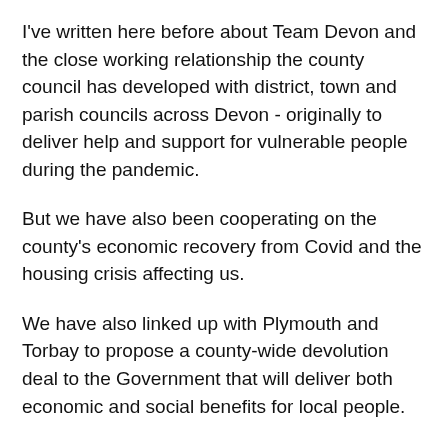I've written here before about Team Devon and the close working relationship the county council has developed with district, town and parish councils across Devon - originally to deliver help and support for vulnerable people during the pandemic.
But we have also been cooperating on the county's economic recovery from Covid and the housing crisis affecting us.
We have also linked up with Plymouth and Torbay to propose a county-wide devolution deal to the Government that will deliver both economic and social benefits for local people.
You may have seen that earlier this year, ours was one of nine bids from around the country invited to start discussions with Ministers and civil servants and that's now underway with the aim of achieving agreement by